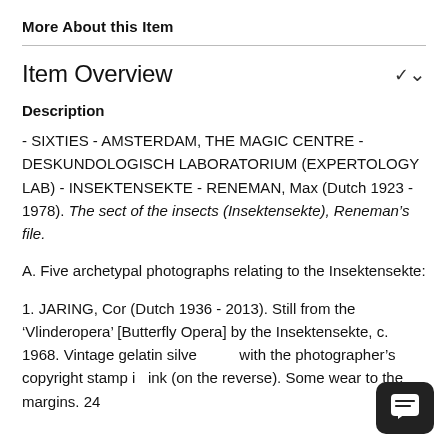More About this Item
Item Overview
Description
- SIXTIES - AMSTERDAM, THE MAGIC CENTRE - DESKUNDOLOGISCH LABORATORIUM (EXPERTOLOGY LAB) - INSEKTENSEKTE - RENEMAN, Max (Dutch 1923 - 1978). The sect of the insects (Insektensekte), Reneman’s file.
A. Five archetypal photographs relating to the Insektensekte:
1. JARING, Cor (Dutch 1936 - 2013). Still from the ‘Vlinderopera’ [Butterfly Opera] by the Insektensekte, c. 1968. Vintage gelatin silver with the photographer’s copyright stamp in ink (on the reverse). Some wear to the margins. 24